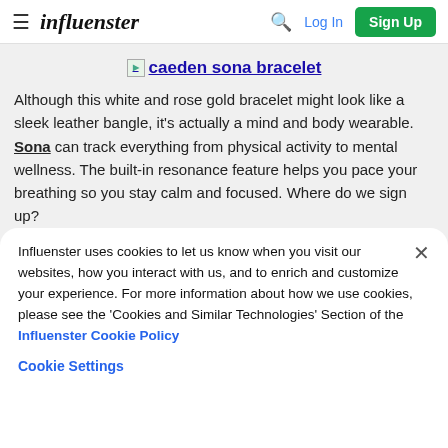influenster — Log In | Sign Up
caeden sona bracelet
Although this white and rose gold bracelet might look like a sleek leather bangle, it's actually a mind and body wearable. Sona can track everything from physical activity to mental wellness. The built-in resonance feature helps you pace your breathing so you stay calm and focused. Where do we sign up?
Influenster uses cookies to let us know when you visit our websites, how you interact with us, and to enrich and customize your experience. For more information about how we use cookies, please see the 'Cookies and Similar Technologies' Section of the Influenster Cookie Policy
Cookie Settings